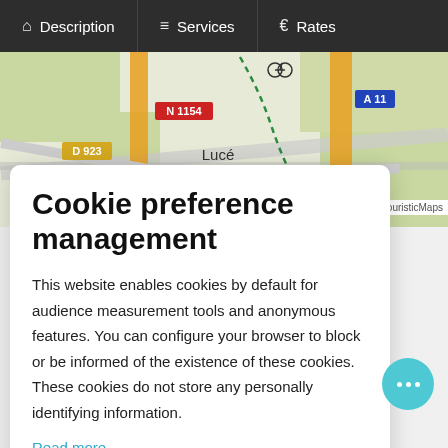Description | Services | Rates
[Figure (map): Street map showing area around Lucé, France, with road labels N 1154, D 923, A 11, N 123 and a dashed cycling/walking route]
Cookie preference management
This website enables cookies by default for audience measurement tools and anonymous features. You can configure your browser to block or be informed of the existence of these cookies. These cookies do not store any personally identifying information.
Read more
No thanks | I choose | Ok for me